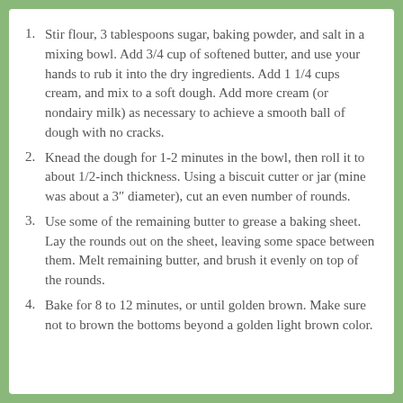Stir flour, 3 tablespoons sugar, baking powder, and salt in a mixing bowl. Add 3/4 cup of softened butter, and use your hands to rub it into the dry ingredients. Add 1 1/4 cups cream, and mix to a soft dough. Add more cream (or nondairy milk) as necessary to achieve a smooth ball of dough with no cracks.
Knead the dough for 1-2 minutes in the bowl, then roll it to about 1/2-inch thickness. Using a biscuit cutter or jar (mine was about a 3″ diameter), cut an even number of rounds.
Use some of the remaining butter to grease a baking sheet. Lay the rounds out on the sheet, leaving some space between them. Melt remaining butter, and brush it evenly on top of the rounds.
Bake for 8 to 12 minutes, or until golden brown. Make sure not to brown the bottoms beyond a golden light brown color.